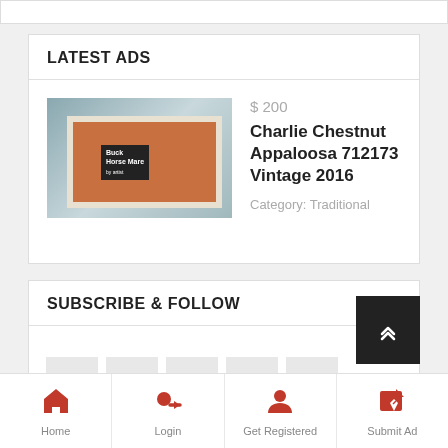LATEST ADS
$ 200
Charlie Chestnut Appaloosa 712173 Vintage 2016
Category: Traditional
SUBSCRIBE & FOLLOW
[Figure (screenshot): Social icons row: Facebook, Twitter, Pinterest, Google+, YouTube]
Home | Login | Get Registered | Submit Ad